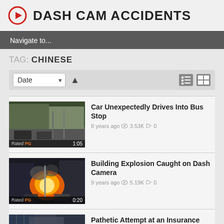DASH CAM ACCIDENTS
Navigate to...
TAG: CHINESE
[Figure (screenshot): Sort bar with Date dropdown, up arrow, list view and grid view icons]
[Figure (photo): Dash cam footage of a street scene with cars and traffic, Rated PG, duration 1:05]
Car Unexpectedly Drives Into Bus Stop
8 years ago  3.53K   0
[Figure (photo): Dash cam footage of a building explosion with fire and cars on street, Rated PG, duration 0:20]
Building Explosion Caught on Dash Camera
9 years ago  5.19K   0
[Figure (photo): Dash cam footage of urban scene, partial view]
Pathetic Attempt at an Insurance Scam